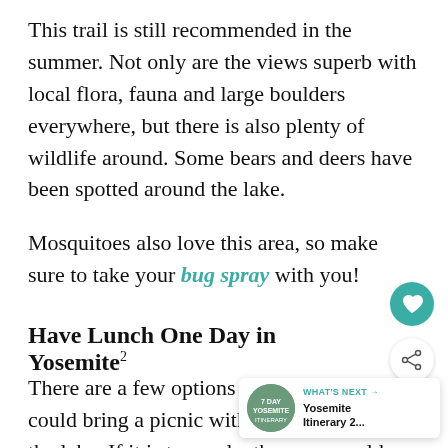This trail is still recommended in the summer. Not only are the views superb with local flora, fauna and large boulders everywhere, but there is also plenty of wildlife around. Some bears and deers have been spotted around the lake.
Mosquitoes also love this area, so make sure to take your bug spray with you!
Have Lunch One Day in Yosemite
There are a few options for lunch. You could bring a picnic with you and sit beside the lake. If it is too early, then you could have
[Figure (infographic): Heart favorite button (teal circle with heart icon), share button (white circle with share icon), and What's Next widget showing Yosemite Itinerary 2... thumbnail]